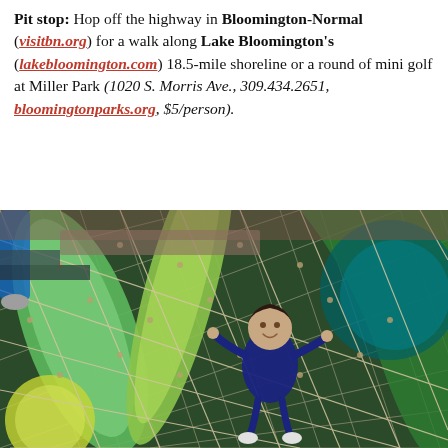Pit stop: Hop off the highway in Bloomington-Normal (visitbn.org) for a walk along Lake Bloomington's (lakebloomington.com) 18.5-mile shoreline or a round of mini golf at Miller Park (1020 S. Morris Ave., 309.434.2651, bloomingtonparks.org, $5/person).
[Figure (photo): A smiling child in a blue outfit climbing through a colorful indoor rope-net playground structure with green tubes and rope nets visible, viewed from above.]